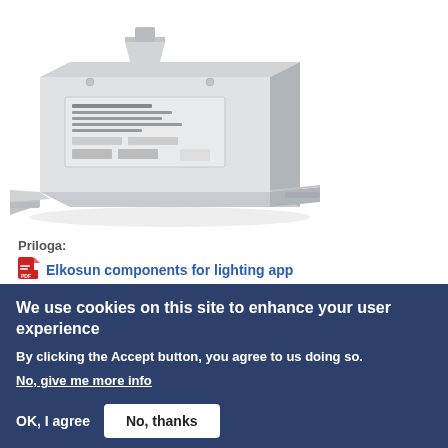[Figure (photo): White rectangular electrical ballast/transformer component for lighting, shown at an angle. The device is a grey/white metal box with mounting tabs and a label with technical specifications on the front.]
Priloga:
Elkosun components for lighting app
We use cookies on this site to enhance your user experience
By clicking the Accept button, you agree to us doing so.
No, give me more info
OK, I agree
No, thanks